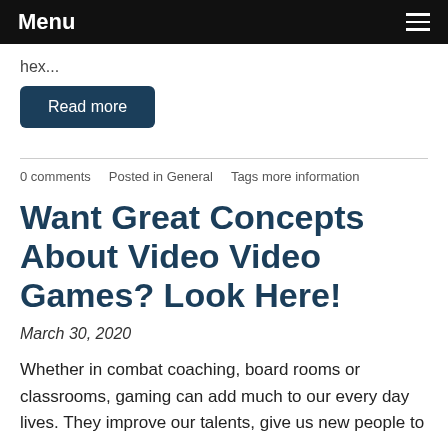Menu
hex...
Read more
0 comments   Posted in General   Tags more information
Want Great Concepts About Video Video Games? Look Here!
March 30, 2020
Whether in combat coaching, board rooms or classrooms, gaming can add much to our every day lives. They improve our talents, give us new people to